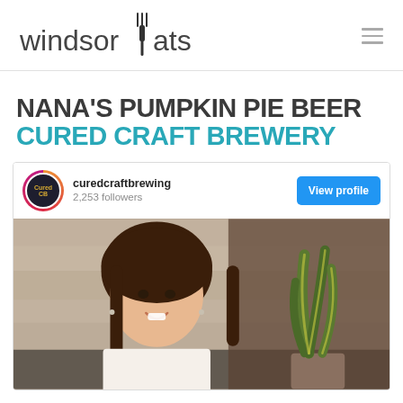[Figure (logo): Windsor Eats logo with fork icon integrated into the letter 'E']
breadcrumb navigation
NANA'S PUMPKIN PIE BEER
CURED CRAFT BREWERY
[Figure (screenshot): Instagram embed card for curedcraftbrewing with 2,253 followers, View profile button, and photo of smiling woman with plant in background]